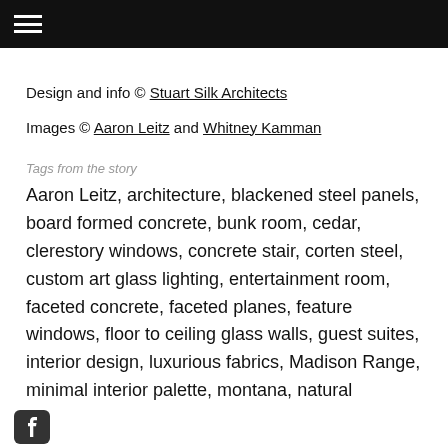≡
Design and info © Stuart Silk Architects
Images © Aaron Leitz and Whitney Kamman
Tags from the story
Aaron Leitz, architecture, blackened steel panels, board formed concrete, bunk room, cedar, clerestory windows, concrete stair, corten steel, custom art glass lighting, entertainment room, faceted concrete, faceted planes, feature windows, floor to ceiling glass walls, guest suites, interior design, luxurious fabrics, Madison Range, minimal interior palette, montana, natural materials, natural stone, opaque, Pioneer
f